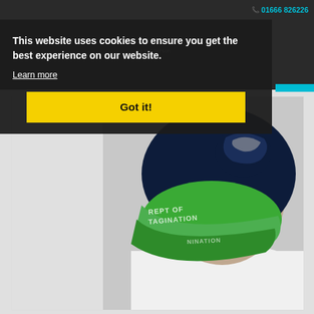01666 826226
This website uses cookies to ensure you get the best experience on our website.
Learn more
Got it!
[Figure (photo): Person wearing a Seattle Seahawks themed neck gaiter/tube scarf in navy blue and bright green, with partial text 'DEPT OF IMAGINATION' visible on the gaiter. The person is wearing a white shirt. The photo is a product shot showing the gaiter from behind/side angle.]